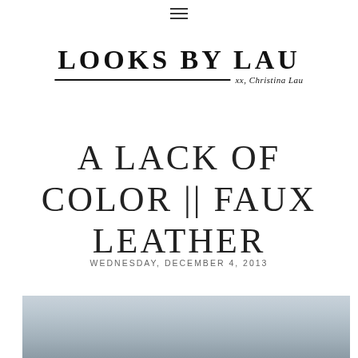≡
LOOKS BY LAU xx, Christina Lau
A LACK OF COLOR || FAUX LEATHER
WEDNESDAY, DECEMBER 4, 2013
[Figure (photo): Outdoor photo of a person on a residential street with bare trees and houses in the background]